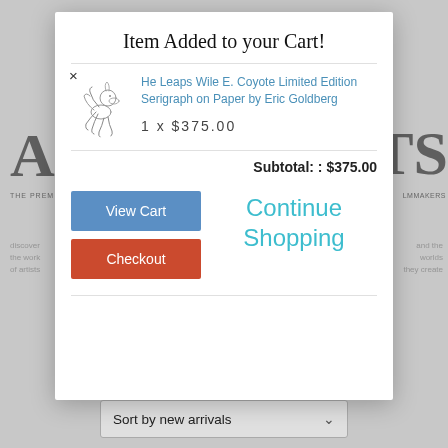[Figure (screenshot): Website background showing 'Art Insights' store page with partial logo letters A and TS, tagline text, and watermark text]
Item Added to your Cart!
He Leaps Wile E. Coyote Limited Edition Serigraph on Paper by Eric Goldberg
1  x  $375.00
Subtotal: : $375.00
View Cart
Checkout
Continue Shopping
Sort by new arrivals